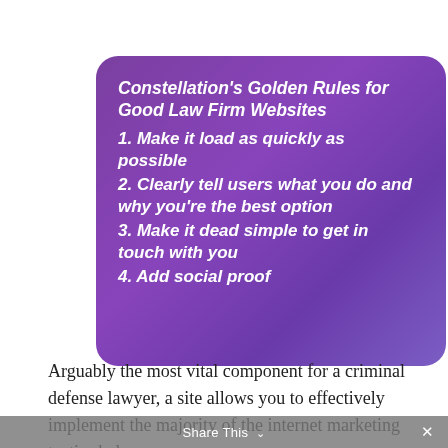Constellation's Golden Rules for Good Law Firm Websites
1. Make it load as quickly as possible
2. Clearly tell users what you do and why you're the best option
3. Make it dead simple to get in touch with you
4. Add social proof
Arguably the most vital component for a criminal defense lawyer, a site allows you to effectively implement the majority of the internet marketing tactics below.
Share This ∨  ×